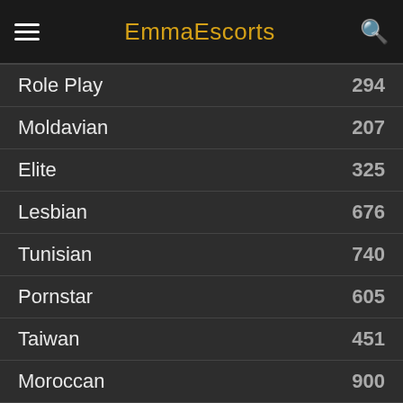EmmaEscorts
Role Play 294
Moldavian 207
Elite 325
Lesbian 676
Tunisian 740
Pornstar 605
Taiwan 451
Moroccan 900